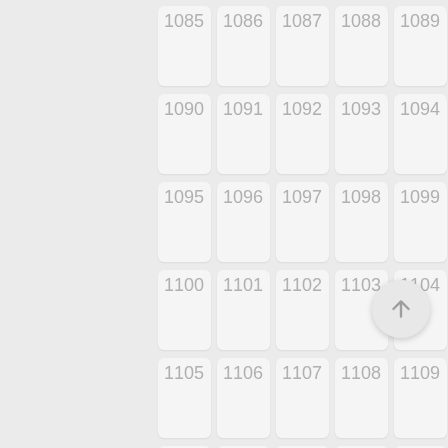[Figure (other): A grid of numbered cells from 1085 to 1139 arranged in 5 columns and 11 rows, with light gray rounded rectangle cards on a light gray background. Each card shows a number in gray text. A circular floating action button with an upward arrow is visible in the lower right area.]